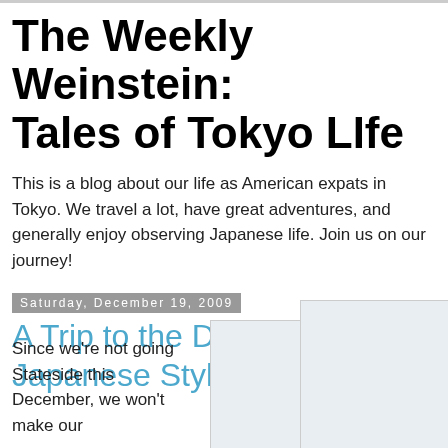The Weekly Weinstein: Tales of Tokyo LIfe
This is a blog about our life as American expats in Tokyo. We travel a lot, have great adventures, and generally enjoy observing Japanese life. Join us on our journey!
Saturday, December 19, 2009
A Trip to the Dentist, Japanese Style
[Figure (photo): Partially visible photo placeholder, light blue-gray]
[Figure (photo): Partially visible photo placeholder, light blue-gray]
Since we're not going Stateside this December, we won't make our